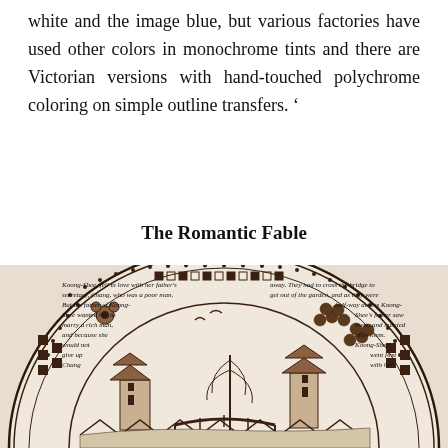white and the image blue, but various factories have used other colors in monochrome tints and there are Victorian versions with hand-touched polychrome coloring on simple outline transfers. '
The Romantic Fable
[Figure (photo): A willow pattern plate shown with text overlaid around the rim area describing the romantic fable of Koong-Shee and Chang. The plate features traditional blue-and-white willow pattern imagery including pagodas, a bridge, trees, and birds. The text reads: 'Koong-Shee, fell in love with her father's secretary, Chang, who was a poor man. But the father of Koong-Shee wanted her to marry a rich man, and because she would not give up Chang away. They had to cross the bridge to get out of the garden, and as they were half-way across Koong-Shee's father saw them, and hurried after them. Koong-Shee went first with her']